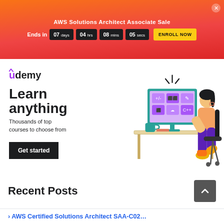AWS Solutions Architect Associate Sale – Ends in 07 days 04 hrs 08 mins 05 secs – ENROLL NOW
[Figure (illustration): Udemy advertisement banner showing a woman sitting at a desk using a computer with code/programming icons on the screen. Text: 'Learn anything – Thousands of top courses to choose from – Get started']
Recent Posts
› AWS Certified Solutions Architect SAA-C02…